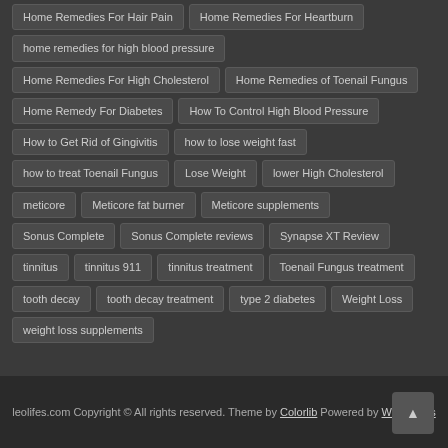Home Remedies For Hair Pain
Home Remedies For Heartburn
home remedies for high blood pressure
Home Remedies For High Cholesterol
Home Remedies of Toenail Fungus
Home Remedy For Diabetes
How To Control High Blood Pressure
How to Get Rid of Gingivitis
how to lose weight fast
how to treat Toenail Fungus
Lose Weight
lower High Cholesterol
meticore
Meticore fat burner
Meticore supplements
Sonus Complete
Sonus Complete reviews
Synapse XT Review
tinnitus
tinnitus 911
tinnitus treatment
Toenail Fungus treatment
tooth decay
tooth decay treatment
type 2 diabetes
Weight Loss
weight loss supplements
leolifes.com Copyright © All rights reserved. Theme by Colorlib Powered by WordPress